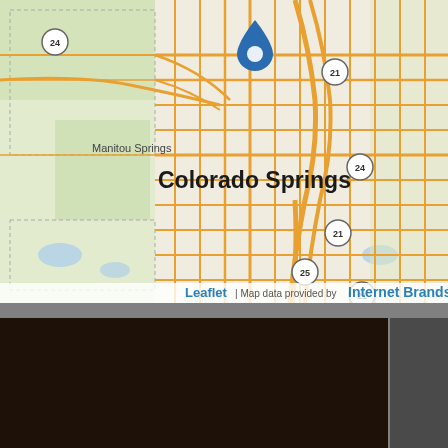[Figure (map): Leaflet street map centered on Colorado Springs, Colorado, with a blue location pin marker near downtown. Shows surrounding streets, highway route badges (21, 24, 25), Manitou Springs label to the west, and the text 'Colorado Springs' prominently in the center. Attribution reads 'Leaflet | Map data provided by Internet Brands'.]